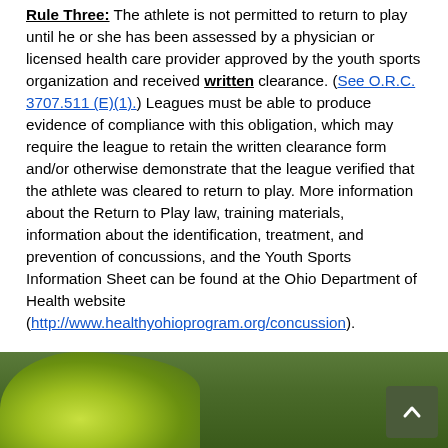Rule Three: The athlete is not permitted to return to play until he or she has been assessed by a physician or licensed health care provider approved by the youth sports organization and received written clearance. (See O.R.C. 3707.511 (E)(1).) Leagues must be able to produce evidence of compliance with this obligation, which may require the league to retain the written clearance form and/or otherwise demonstrate that the league verified that the athlete was cleared to return to play. More information about the Return to Play law, training materials, information about the identification, treatment, and prevention of concussions, and the Youth Sports Information Sheet can be found at the Ohio Department of Health website (http://www.healthyohioprogram.org/concussion).
[Figure (photo): Bottom portion of page showing a green grass field background with a yellow-green object (possibly athletic shoe or equipment) visible on the left side. A dark green 'back to top' button with an upward arrow chevron is in the bottom right corner.]